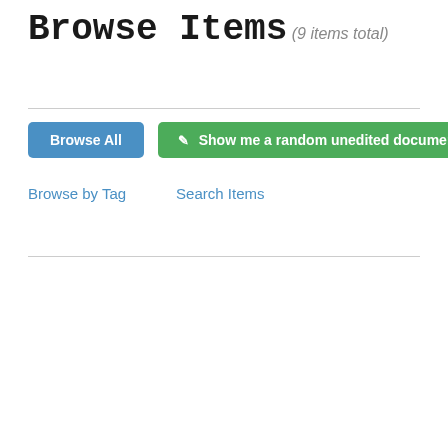Browse Items
(9 items total)
Browse All
Show me a random unedited document
Browse by Tag
Search Items
Browse Map
[Figure (photo): A scanned typed letter on yellowed paper, showing multiple paragraphs of text with a date at the top and a signature at the bottom.]